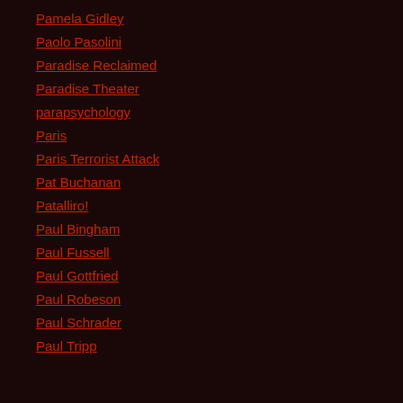Pamela Gidley
Paolo Pasolini
Paradise Reclaimed
Paradise Theater
parapsychology
Paris
Paris Terrorist Attack
Pat Buchanan
Patalliro!
Paul Bingham
Paul Fussell
Paul Gottfried
Paul Robeson
Paul Schrader
Paul Tripp